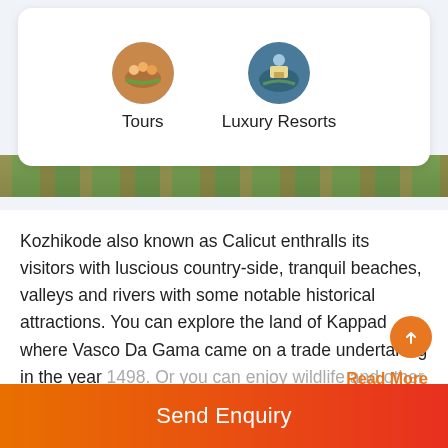[Figure (screenshot): Two circular icons: Tours (people rafting) and Luxury Resorts (scenic resort aerial), displayed in a white card]
Tours
Luxury Resorts
[Figure (photo): Aerial photograph of lush green landscape/gardens]
Kozhikode also known as Calicut enthralls its visitors with luscious country-side, tranquil beaches, valleys and rivers with some notable historical attractions. You can explore the land of Kappad where Vasco Da Gama came on a trade undertaking in the year 1498. Or you can enjoy wildlife and other attractions throughout the land.
Read More
02  Kovalam Beach
[Figure (photo): Blue-toned aerial photo of Kovalam Beach area]
Send Enquiry